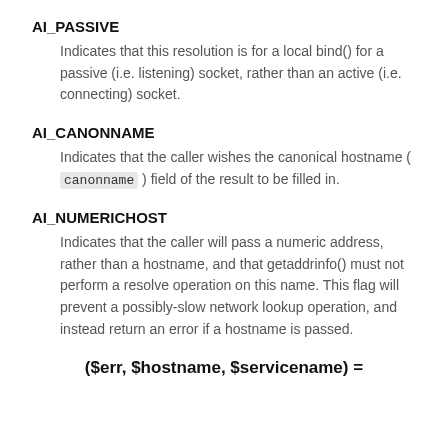AI_PASSIVE
Indicates that this resolution is for a local bind() for a passive (i.e. listening) socket, rather than an active (i.e. connecting) socket.
AI_CANONNAME
Indicates that the caller wishes the canonical hostname ( canonname ) field of the result to be filled in.
AI_NUMERICHOST
Indicates that the caller will pass a numeric address, rather than a hostname, and that getaddrinfo() must not perform a resolve operation on this name. This flag will prevent a possibly-slow network lookup operation, and instead return an error if a hostname is passed.
($err, $hostname, $servicename) =